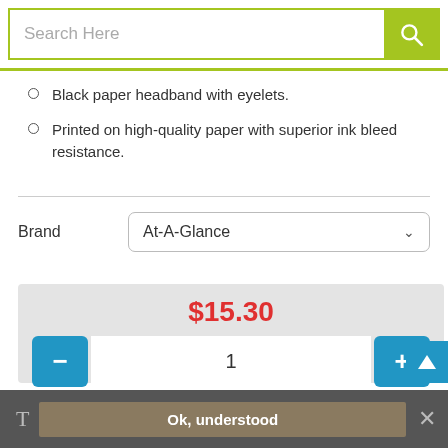Search Here
Black paper headband with eyelets.
Printed on high-quality paper with superior ink bleed resistance.
Brand   At-A-Glance
$15.30
1
Add to Cart
Alternative Products
Ok, understood